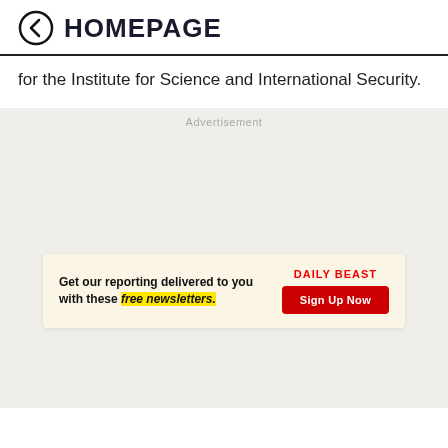HOMEPAGE
for the Institute for Science and International Security.
[Figure (other): Advertisement banner for Daily Beast newsletter signup. Contains text 'Get our reporting delivered to you with these free newsletters.' with 'free newsletters.' highlighted in yellow, alongside 'DAILY BEAST' logo in red and a red 'Sign Up Now' button.]